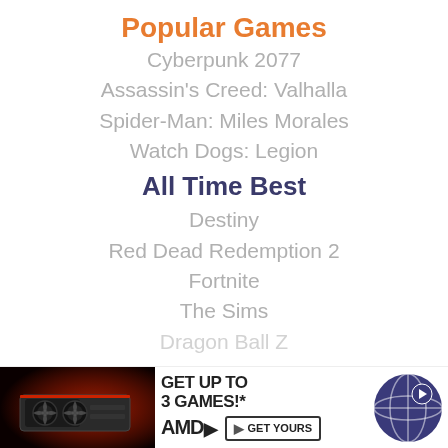Popular Games
Cyberpunk 2077
Assassin's Creed: Valhalla
Spider-Man: Miles Morales
Watch Dogs: Legion
All Time Best
Destiny
Red Dead Redemption 2
Fortnite
The Sims
Dragon Ball Z
[Figure (other): AMD advertisement banner: GPU image, 'GET UP TO 3 GAMES!*', AMD logo, 'GET YOURS' button, globe icon]